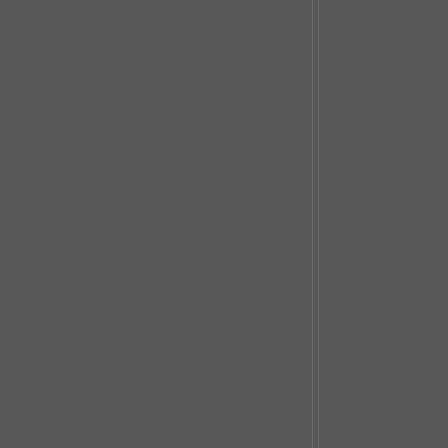ature: it has a concealed (or enrolled